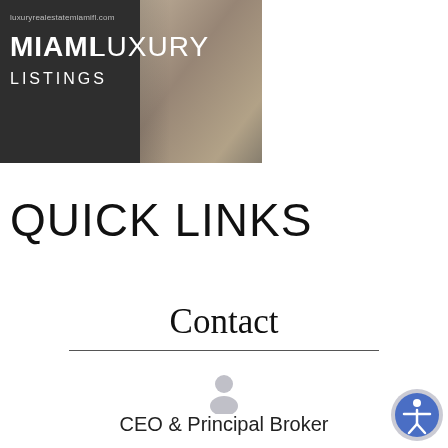[Figure (logo): Miami Luxury Listings logo banner with URL luxuryrealestatemiamifl.com and background photo of luxury interior]
QUICK LINKS
Contact
[Figure (illustration): Generic person/user silhouette icon in light gray]
CEO & Principal Broker
[Figure (illustration): Accessibility icon button (person in circle, blue and gray)]